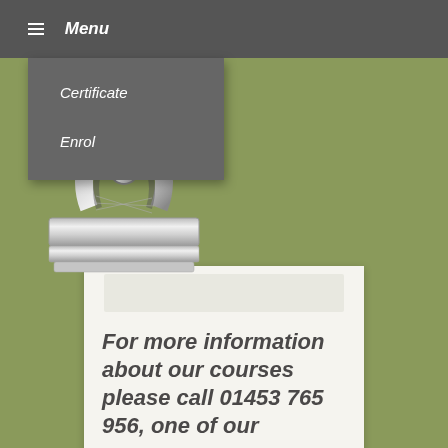≡ Menu
Certificate
Enrol
[Figure (illustration): A clipboard with a metal binder clip at the top, set against a green/olive background, with white paper showing text about course information.]
For more information about our courses please call 01453 765 956, one of our